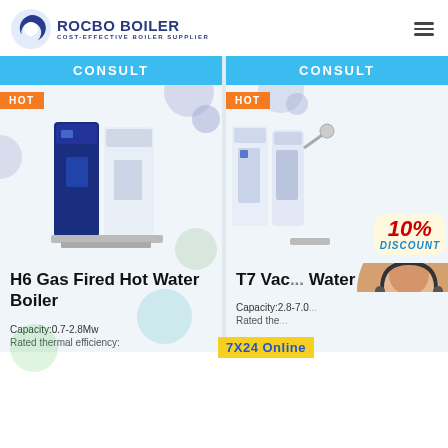[Figure (logo): Rocbo Boiler logo with blue crescent icon and text 'ROCBO BOILER / COST-EFFECTIVE BOILER SUPPLIER']
CONSULT
CONSULT
HOT
HOT
[Figure (photo): H6 gas fired hot water boiler product photo - dark blue and white unit]
[Figure (photo): T7 Vacuum Hot Water boiler product photo with 10% discount badge overlay]
H6 Gas Fired Hot Water Boiler
T7 Vac... Water ...
Capacity:0.7-2.8Mw
Capacity:2.8-7.0...
Rated thermal efficiency:
Rated the...
[Figure (photo): Customer service agent photo (woman with headset) with '7X24 Online' yellow banner]